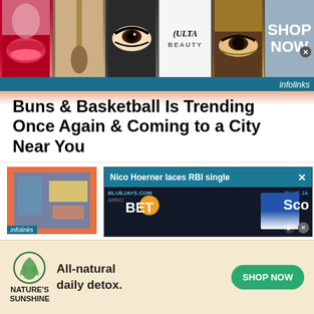[Figure (photo): ULTA Beauty advertisement banner showing makeup imagery — lips with red lipstick, makeup brush, eye with dramatic makeup, ULTA logo, eye closeup, and SHOP NOW button with infolinks tag]
Buns & Basketball Is Trending Once Again & Coming to a City Near You
08/27/2022
View this post on Instagram A post shared by @bunsandbasketball [….]
[Figure (screenshot): Related article thumbnail showing colorful artwork and partial text 'New Jerse... Trying to Attire' with infolinks tag, overlaid by video player showing 'Nico Hoerner laces RBI single' with Blue Jays branding and BET/Sco text]
[Figure (photo): Nature's Sunshine advertisement — logo with leaf/spiral icon, text 'All-natural daily detox.' and green SHOP NOW button on cream background]